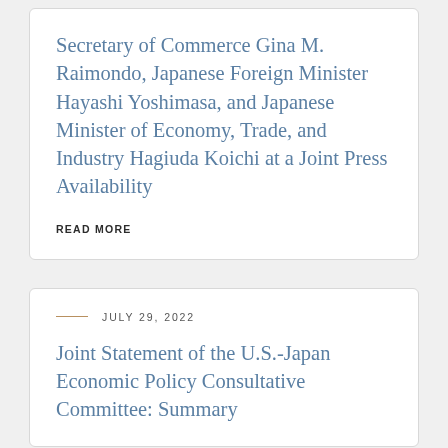Secretary of Commerce Gina M. Raimondo, Japanese Foreign Minister Hayashi Yoshimasa, and Japanese Minister of Economy, Trade, and Industry Hagiuda Koichi at a Joint Press Availability
READ MORE
JULY 29, 2022
Joint Statement of the U.S.-Japan Economic Policy Consultative Committee: Summary